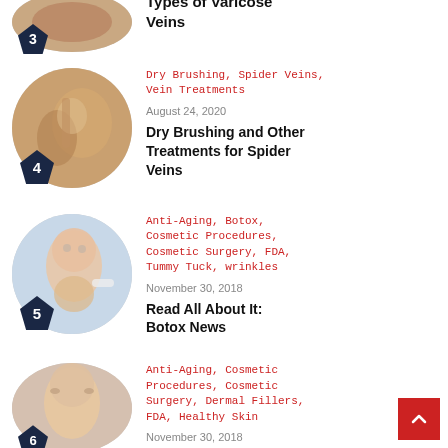[Figure (photo): Circular photo of legs/feet, article 3, partial view at top]
Types of Varicose Veins
[Figure (photo): Circular photo of dry brushing treatment on skin, article 4]
Dry Brushing, Spider Veins, Vein Treatments • August 24, 2020
Dry Brushing and Other Treatments for Spider Veins
[Figure (photo): Circular photo of woman's face with cosmetic procedure, article 5]
Anti-Aging, Botox, Cosmetic Procedures, Cosmetic Surgery, FDA, Tummy Tuck, wrinkles • November 30, 2018
Read All About It: Botox News
[Figure (photo): Circular photo of woman touching forehead, article 6, partial view at bottom]
Anti-Aging, Cosmetic Procedures, Cosmetic Surgery, Dermal Fillers, FDA, Healthy Skin • November 30, 2018